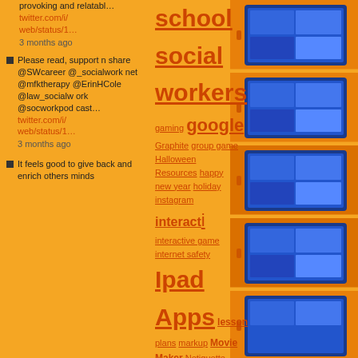provoking and relatabl… twitter.com/i/web/status/1… 3 months ago
Please read, support n share @SWcareer @_socialwork net @mfktherapy @ErinHCole @law_socialwork @socworkpodcast… twitter.com/i/web/status/1… 3 months ago
It feels good to give back and enrich others minds
school social workers gaming google Graphite group game Halloween Resources happy new year holiday instagram interactive interactive game internet safety Ipad Apps lesson plans markup Movie Maker Netiquette new year online learning organizing PDF pinterest PLN poster Power Point quote maker reading resources
[Figure (photo): Multiple tablet devices stacked vertically on right side of page]